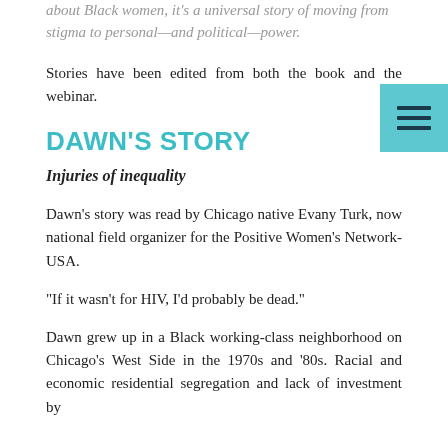about Black women, it's a universal story of moving from stigma to personal—and political—power.
Stories have been edited from both the book and the webinar.
DAWN'S STORY
Injuries of inequality
Dawn's story was read by Chicago native Evany Turk, now national field organizer for the Positive Women's Network-USA.
“If it wasn’t for HIV, I’d probably be dead.”
Dawn grew up in a Black working-class neighborhood on Chicago’s West Side in the 1970s and ‘80s. Racial and economic residential segregation and lack of investment by